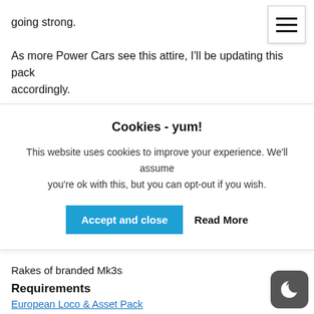going strong.
As more Power Cars see this attire, I'll be updating this pack accordingly.
Cookies - yum!
This website uses cookies to improve your experience. We'll assume you're ok with this, but you can opt-out if you wish.
[Accept and close] [Read More]
Rakes of branded Mk3s
Requirements
European Loco & Asset Pack
Armstrong Powerhouse Class 43 MTU Enhancement Pack
AlanThomsonSim VTEC & LNER HST Pack IT IS IMPERATIVE YOU